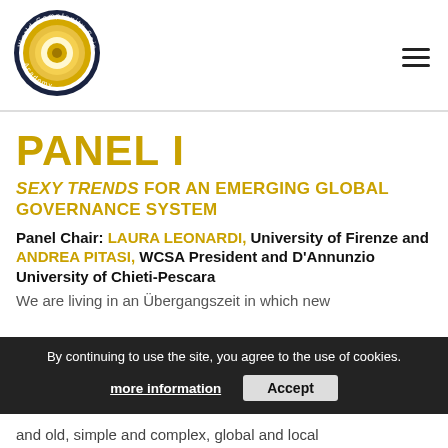[Figure (logo): World Complexity Science Academy circular logo with concentric spiral in gold/yellow and dark navy ring with text around it]
PANEL I
SEXY TRENDS FOR AN EMERGING GLOBAL GOVERNANCE SYSTEM
Panel Chair: LAURA LEONARDI, University of Firenze and ANDREA PITASI, WCSA President and D'Annunzio University of Chieti-Pescara
We are living in an Übergangszeit in which new and old, simple and complex, global and local